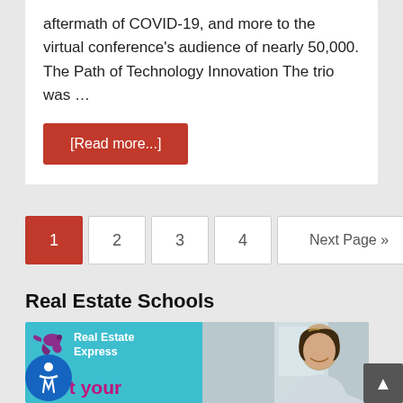aftermath of COVID-19, and more to the virtual conference's audience of nearly 50,000. The Path of Technology Innovation The trio was …
[Read more...]
1
2
3
4
Next Page »
Real Estate Schools
[Figure (photo): Real Estate Express advertisement banner with hummingbird logo, teal background, woman smiling, and 'Start your' tagline in pink/purple text]